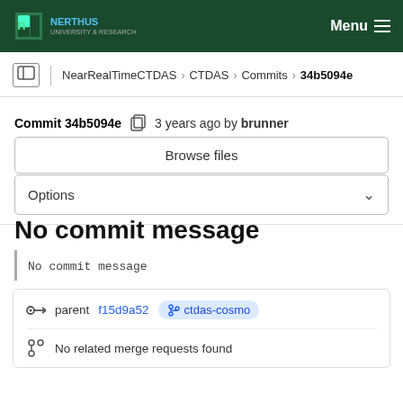NearRealTimeCTDAS > CTDAS > Commits > 34b5094e
Commit 34b5094e  3 years ago by brunner
Browse files
Options
No commit message
No commit message
parent f15d9a52  ctdas-cosmo
No related merge requests found